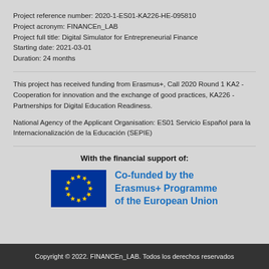Project reference number: 2020-1-ES01-KA226-HE-095810
Project acronym: FINANCEn_LAB
Project full title: Digital Simulator for Entrepreneurial Finance
Starting date: 2021-03-01
Duration: 24 months
This project has received funding from Erasmus+, Call 2020 Round 1 KA2 - Cooperation for innovation and the exchange of good practices, KA226 - Partnerships for Digital Education Readiness.
National Agency of the Applicant Organisation: ES01 Servicio Español para la Internacionalización de la Educación (SEPIE)
With the financial support of:
[Figure (logo): EU flag (blue background with circle of 12 yellow stars) alongside 'Co-funded by the Erasmus+ Programme of the European Union' text in blue]
Copyright © 2022. FINANCEn_LAB. Todos los derechos reservados